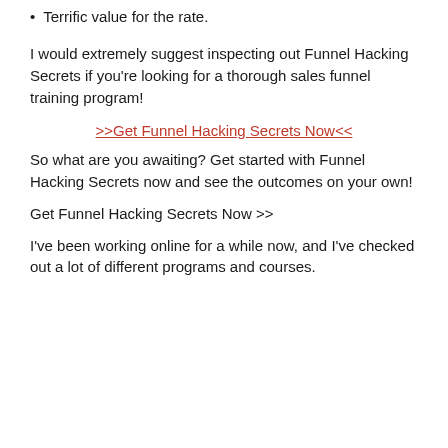Terrific value for the rate.
I would extremely suggest inspecting out Funnel Hacking Secrets if you're looking for a thorough sales funnel training program!
>>Get Funnel Hacking Secrets Now<<
So what are you awaiting? Get started with Funnel Hacking Secrets now and see the outcomes on your own!
Get Funnel Hacking Secrets Now >>
I've been working online for a while now, and I've checked out a lot of different programs and courses.